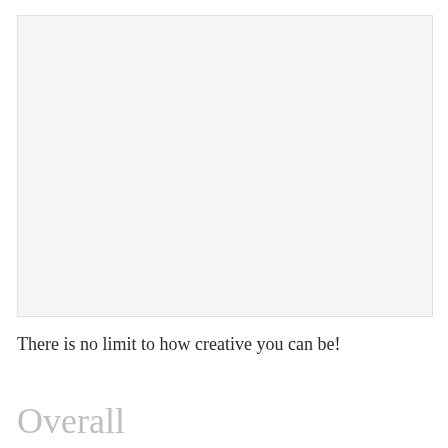[Figure (other): Large light gray empty rectangular image placeholder area]
There is no limit to how creative you can be!
Overall